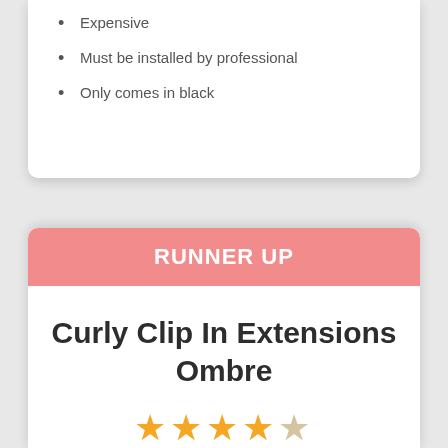Expensive
Must be installed by professional
Only comes in black
RUNNER UP
Curly Clip In Extensions Ombre
★★★★☆ (4 out of 5 stars)